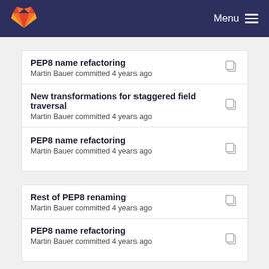GitLab Menu
PEP8 name refactoring
Martin Bauer committed 4 years ago
New transformations for staggered field traversal
Martin Bauer committed 4 years ago
PEP8 name refactoring
Martin Bauer committed 4 years ago
Rest of PEP8 renaming
Martin Bauer committed 4 years ago
PEP8 name refactoring
Martin Bauer committed 4 years ago
Generalized vectorization
Martin Bauer committed 4 years ago